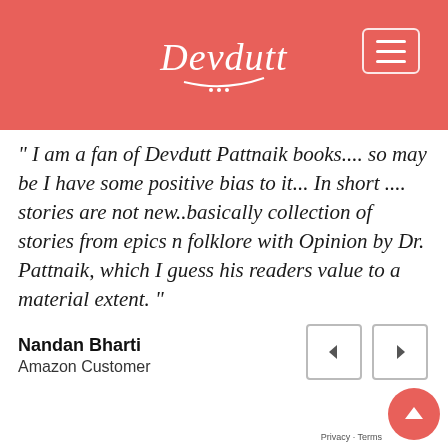Devdutt (logo with menu button)
" I am a fan of Devdutt Pattnaik books.... so may be I have some positive bias to it... In short .... stories are not new..basically collection of stories from epics n folklore with Opinion by Dr. Pattnaik, which I guess his readers value to a material extent. "
Nandan Bharti
Amazon Customer
Privacy · Terms